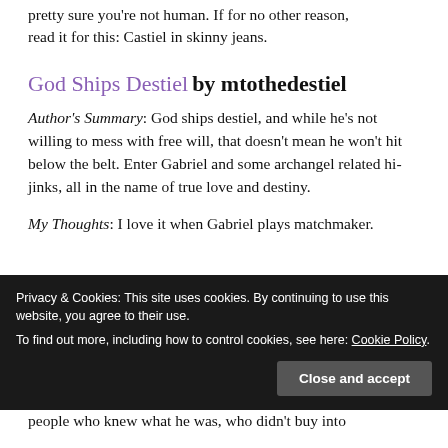pretty sure you're not human. If for no other reason, read it for this: Castiel in skinny jeans.
God Ships Destiel by mtothedestiel
Author's Summary: God ships destiel, and while he's not willing to mess with free will, that doesn't mean he won't hit below the belt. Enter Gabriel and some archangel related hi-jinks, all in the name of true love and destiny.
My Thoughts: I love it when Gabriel plays matchmaker.
Privacy & Cookies: This site uses cookies. By continuing to use this website, you agree to their use.
To find out more, including how to control cookies, see here: Cookie Policy
people who knew what he was, who didn't buy into